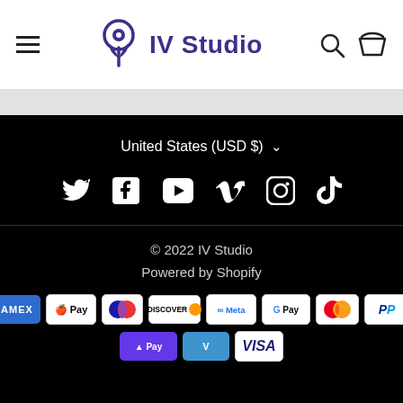IV Studio
[Figure (screenshot): IV Studio website footer showing currency selector, social media icons (Twitter, Facebook, YouTube, Vimeo, Instagram, TikTok), copyright 2022 IV Studio, Powered by Shopify, and payment method badges (Amex, Apple Pay, Diners, Discover, Meta, Google Pay, Mastercard, PayPal, Shop Pay, Venmo, Visa)]
United States (USD $)
© 2022 IV Studio
Powered by Shopify